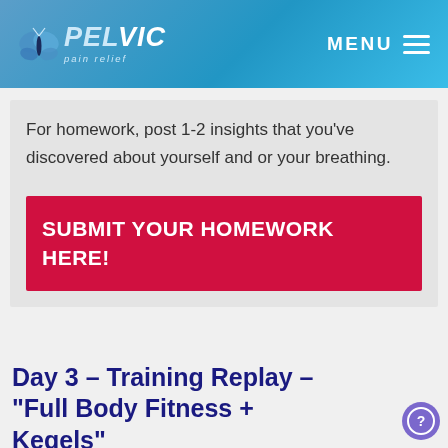PELVIC pain relief | MENU
For homework, post 1-2 insights that you've discovered about yourself and or your breathing.
SUBMIT YOUR HOMEWORK HERE!
Day 3 – Training Replay – "Full Body Fitness + Kegels"